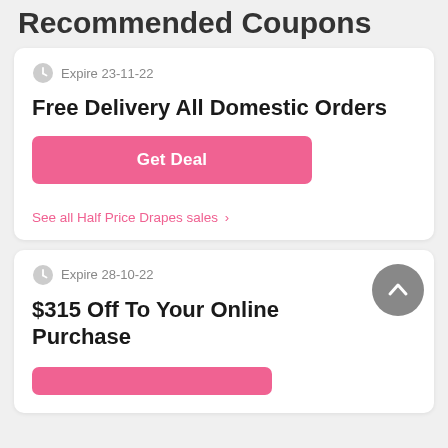Recommended Coupons
Expire 23-11-22
Free Delivery All Domestic Orders
Get Deal
See all Half Price Drapes sales >
Expire 28-10-22
$315 Off To Your Online Purchase